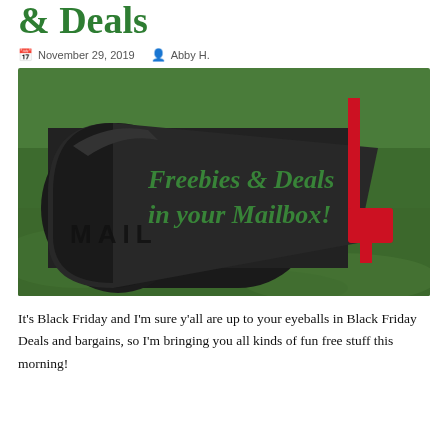& Deals
November 29, 2019   Abby H.
[Figure (photo): Black mailbox with red flag raised, sitting on green grass. Text overlay reads 'Freebies & Deals in your Mailbox!' in green italic font. The word MAIL is embossed on the mailbox door.]
It’s Black Friday and I’m sure y’all are up to your eyeballs in Black Friday Deals and bargains, so I’m bringing you all kinds of fun free stuff this morning!